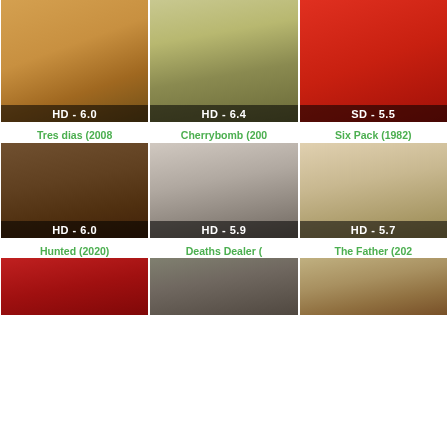[Figure (photo): Movie poster grid with 9 films in 3 columns and 3 rows. Row 1: unnamed Chinese film (HD-6.0), The Stranglers of Bombay (HD-6.4), To Make a Monster (SD-5.5). Row 2: Tres dias (2008) shown as Before the Fall poster (HD-6.0), Cherrybomb (200) with Rupert Grint (HD-5.9), Six Pack (1982) with Kenny Rogers (HD-5.7). Row 3: Hunted (2020), Deaths Dealer, The Father (202) - all partially visible.]